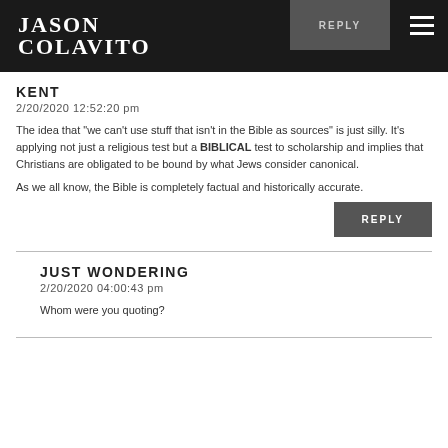JASON COLAVITO
KENT
2/20/2020 12:52:20 pm
The idea that "we can't use stuff that isn't in the Bible as sources" is just silly. It's applying not just a religious test but a BIBLICAL test to scholarship and implies that Christians are obligated to be bound by what Jews consider canonical.
As we all know, the Bible is completely factual and historically accurate.
REPLY
JUST WONDERING
2/20/2020 04:00:43 pm
Whom were you quoting?